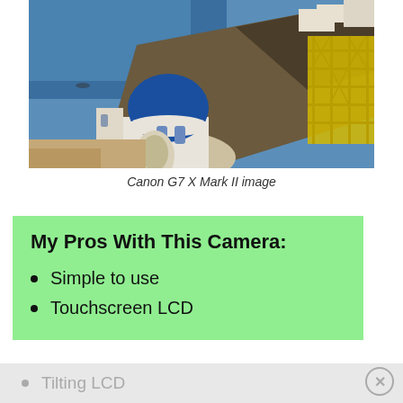[Figure (photo): Aerial/elevated view of a Greek island scene (Santorini) with a white church with a blue dome, overlooking a deep blue sea, with yellow scaffolding structures on the right side.]
Canon G7 X Mark II image
My Pros With This Camera:
Simple to use
Touchscreen LCD
Tilting LCD